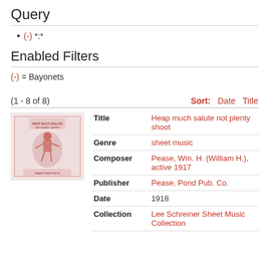Query
(-) *:*
Enabled Filters
(-) = Bayonets
(1 - 8 of 8)
Sort: Date Title
| Field | Value |
| --- | --- |
| Title | Heap much salute not plenty shoot |
| Genre | sheet music |
| Composer | Pease, Wm. H. (William H.), active 1917 |
| Publisher | Pease, Pond Pub. Co. |
| Date | 1918 |
| Collection | Lee Schreiner Sheet Music Collection |